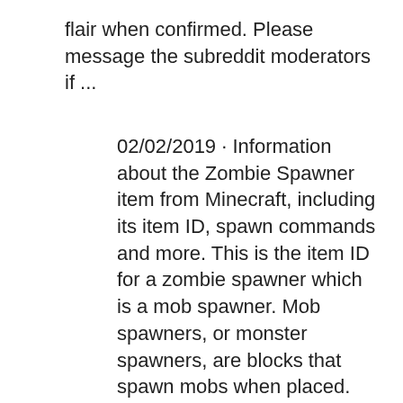flair when confirmed. Please message the subreddit moderators if ...
02/02/2019 · Information about the Zombie Spawner item from Minecraft, including its item ID, spawn commands and more. This is the item ID for a zombie spawner which is a mob spawner. Mob spawners, or monster spawners, are blocks that spawn mobs when placed. Conditions (e.g. light levels) relative to the mob type of the spawner must still be met in order for the monster to spawn. "Help me! What the